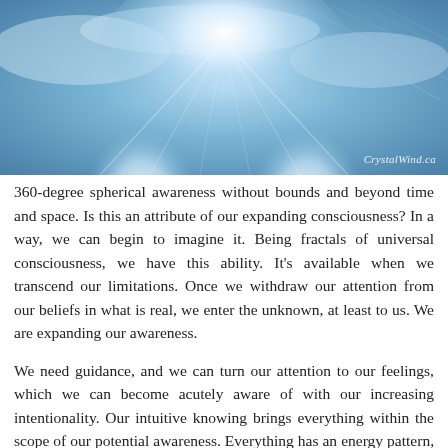[Figure (illustration): A glowing ethereal image showing two mirrored human head silhouettes filled with bright white-blue light radiating outward, set against a blue sky with clouds and geometric line patterns. Watermark reads CrystalWind.ca in bottom right corner.]
360-degree spherical awareness without bounds and beyond time and space. Is this an attribute of our expanding consciousness? In a way, we can begin to imagine it. Being fractals of universal consciousness, we have this ability. It's available when we transcend our limitations. Once we withdraw our attention from our beliefs in what is real, we enter the unknown, at least to us. We are expanding our awareness.
We need guidance, and we can turn our attention to our feelings, which we can become acutely aware of with our increasing intentionality. Our intuitive knowing brings everything within the scope of our potential awareness. Everything has an energy pattern, and our intuition knows